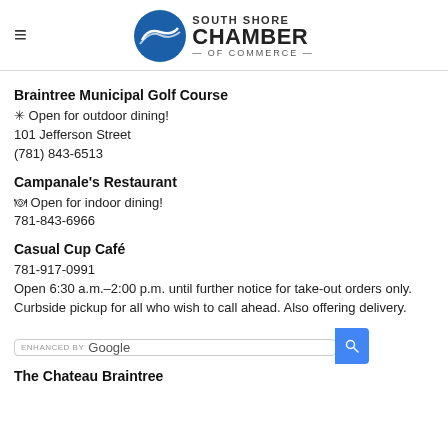South Shore Chamber of Commerce
Braintree Municipal Golf Course
✳ Open for outdoor dining!
101 Jefferson Street
(781) 843-6513
Campanale's Restaurant
🍽 Open for indoor dining!
781-843-6966
Casual Cup Café
781-917-0991
Open 6:30 a.m.–2:00 p.m. until further notice for take-out orders only.
Curbside pickup for all who wish to call ahead. Also offering delivery.
The Chateau Braintree